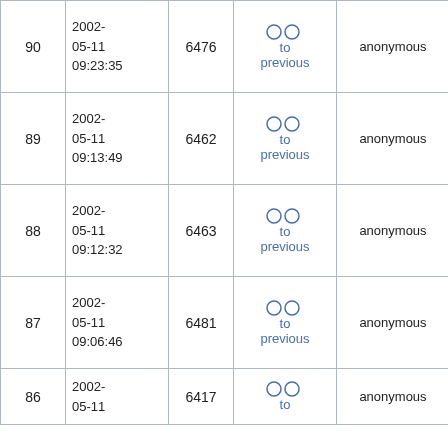|  | Date | ID | Links | User | Message |
| --- | --- | --- | --- | --- | --- |
| 90 | 2002-05-11 09:23:35 | 6476 | ○ ○ to previous | anonymous | m ec en th re |
| 89 | 2002-05-11 09:13:49 | 6462 | ○ ○ to previous | anonymous | m ec en th re |
| 88 | 2002-05-11 09:12:32 | 6463 | ○ ○ to previous | anonymous | m ec en th re |
| 87 | 2002-05-11 09:06:46 | 6481 | ○ ○ to previous | anonymous | m ec en th re |
| 86 | 2002-05-11 | 6417 | ○ ○ to | anonymous | m ec |